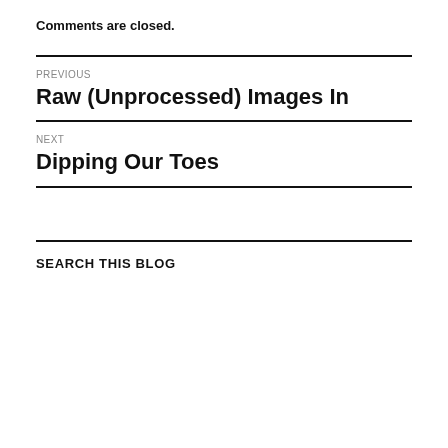Comments are closed.
PREVIOUS
Raw (Unprocessed) Images In
NEXT
Dipping Our Toes
SEARCH THIS BLOG